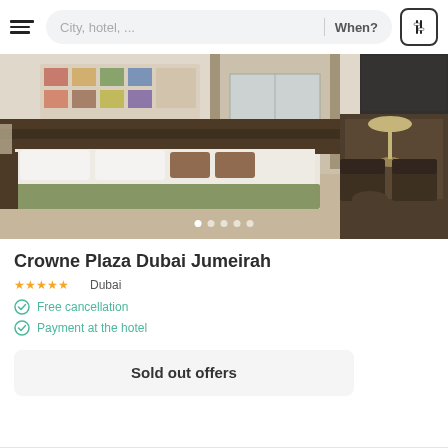[Figure (screenshot): App navigation bar with hamburger menu, search field showing 'City, hotel, ...', 'When?' text, and filter icon]
[Figure (photo): Hotel room interior showing a king-size bed with white linens and olive green throw, dark wood headboard, two armchairs, a desk lamp, curtains, and wall art. Carousel navigation dots visible at the bottom.]
Crowne Plaza Dubai Jumeirah
★★★★★ Dubai
Free cancellation
Payment at the hotel
Sold out offers